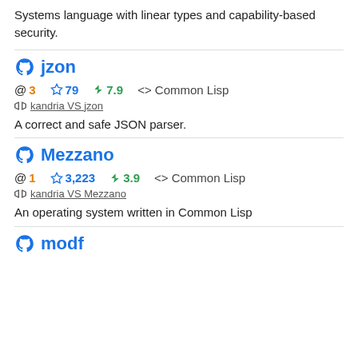Systems language with linear types and capability-based security.
jzon
@ 3  ☆79  ⚡7.9  <> Common Lisp
kandria VS jzon
A correct and safe JSON parser.
Mezzano
@ 1  ☆3,223  ⚡3.9  <> Common Lisp
kandria VS Mezzano
An operating system written in Common Lisp
modf